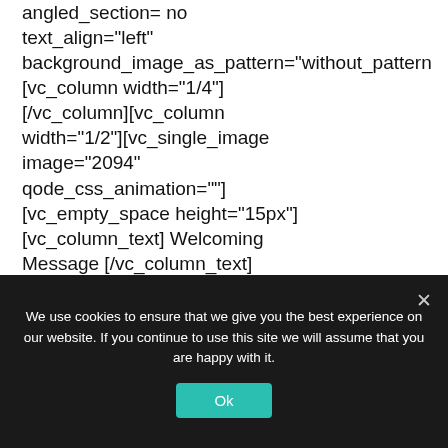angled_section= no
text_align="left"
background_image_as_pattern="without_pattern
[vc_column width="1/4"]
[/vc_column][vc_column
width="1/2"][vc_single_image
image="2094"
qode_css_animation=""]
[vc_empty_space height="15px"]
[vc_column_text] Welcoming
Message [/vc_column_text]
[vc_column_text]Warmly welcome
to the Lighting Module! This is
definitely the most beautiful
We use cookies to ensure that we give you the best experience on our website. If you continue to use this site we will assume that you are happy with it.
Ok